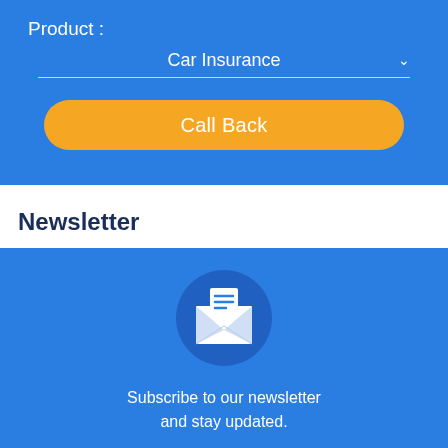Product :
Car Insurance
Call Back
Newsletter
[Figure (illustration): White envelope icon with letter inside on a dark blue circular background]
Subscribe to our newsletter and stay updated.